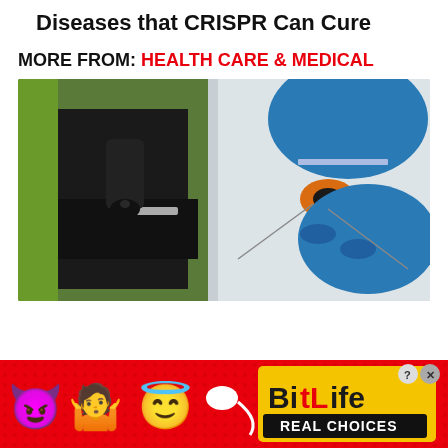Diseases that CRISPR Can Cure
MORE FROM: HEALTH CARE & MEDICAL
[Figure (photo): Photo of a microscope on the left side and blue-gloved hands holding a microscope slide with an orange/black specimen on the right side, laboratory setting]
[Figure (photo): BitLife advertisement banner with red polka-dot background, devil emoji, woman shrugging emoji, angel emoji, sperm icon, BitLife logo in yellow, and 'REAL CHOICES' text in white on black]